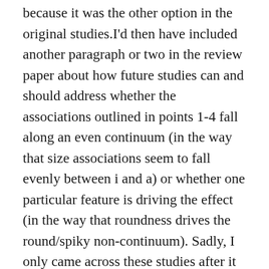because it was the other option in the original studies.I'd then have included another paragraph or two in the review paper about how future studies can and should address whether the associations outlined in points 1-4 fall along an even continuum (in the way that size associations seem to fall evenly between i and a) or whether one particular feature is driving the effect (in the way that roundness drives the round/spiky non-continuum). Sadly, I only came across these studies after it was too late to include them, but hopefully they'll be picked up on by others in future!